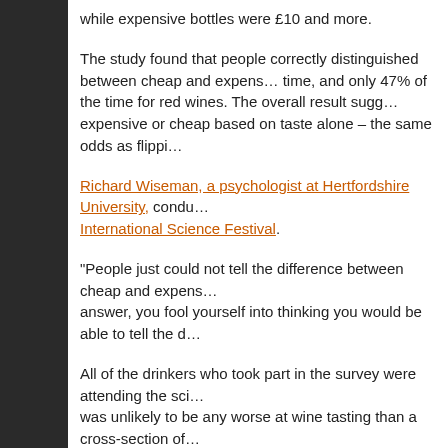while expensive bottles were £10 and more.
The study found that people correctly distinguished between cheap and expensive wines 53% of the time, and only 47% of the time for red wines. The overall result suggested people cannot distinguish expensive or cheap based on taste alone – the same odds as flipping a coin.
Richard Wiseman, a psychologist at Hertfordshire University, conducted the study for the Edinburgh International Science Festival.
"People just could not tell the difference between cheap and expensive wines. If you know the answer, you fool yourself into thinking you would be able to tell the difference."
All of the drinkers who took part in the survey were attending the science festival, so the group was unlikely to be any worse at wine tasting than a cross-section of the public.
"The real surprise is that the more expensive wines were double or even triple the price. Normally when a product is that much more expensive, you would expect people to notice," Wiseman said.
People scored best when deciding between two bottles of Pinot Grigio, correctly identifying which. The Claret, which cost either £3.49 or £15.99, fooled most people about which they had tasted.
In 2008, a study led by Adrian North, a psychologist at Heriot-Watt University, found that music helped boost the flavour of certain wines. North, who was commissioned